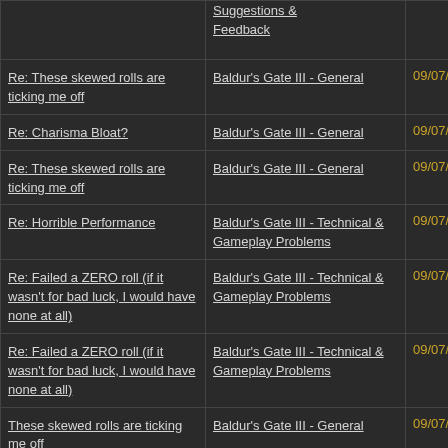| Topic | Forum | Date |
| --- | --- | --- |
| Suggestions & Feedback |  |  |
| Re: These skewed rolls are ticking me off | Baldur's Gate III - General | 09/07/22 08:03 PM |
| Re: Charisma Bloat? | Baldur's Gate III - General | 09/07/22 08:01 PM |
| Re: These skewed rolls are ticking me off | Baldur's Gate III - General | 09/07/22 07:50 PM |
| Re: Horrible Performance | Baldur's Gate III - Technical & Gameplay Problems | 09/07/22 07:48 PM |
| Re: Failed a ZERO roll (if it wasn't for bad luck, I would have none at all) | Baldur's Gate III - Technical & Gameplay Problems | 09/07/22 07:46 PM |
| Re: Failed a ZERO roll (if it wasn't for bad luck, I would have none at all) | Baldur's Gate III - Technical & Gameplay Problems | 09/07/22 07:07 PM |
| These skewed rolls are ticking me off | Baldur's Gate III - General | 09/07/22 06:49 PM |
| Gnomes Look Bad | Baldur's Gate III - Suggestions & Feedback | 09/07/22 06:14 PM |